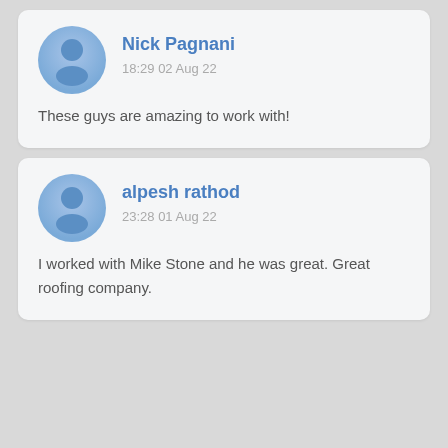[Figure (illustration): User avatar icon for Nick Pagnani — circular blue gradient with person silhouette]
Nick Pagnani
18:29 02 Aug 22
These guys are amazing to work with!
[Figure (illustration): User avatar icon for alpesh rathod — circular blue gradient with person silhouette]
alpesh rathod
23:28 01 Aug 22
I worked with Mike Stone and he was great. Great roofing company.